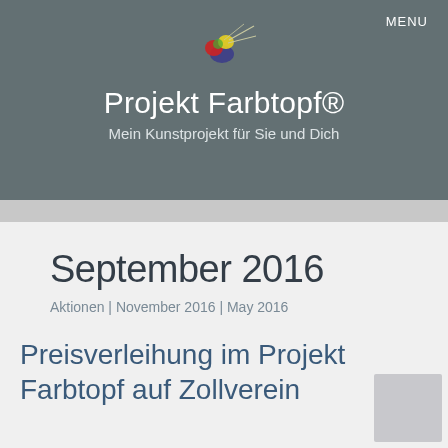MENU
[Figure (logo): Colorful paint-splash bird/insect logo for Projekt Farbtopf]
Projekt Farbtopf®
Mein Kunstprojekt für Sie und Dich
September 2016
Aktionen | November 2016 | May 2016
Preisverleihung im Projekt Farbtopf auf Zollverein